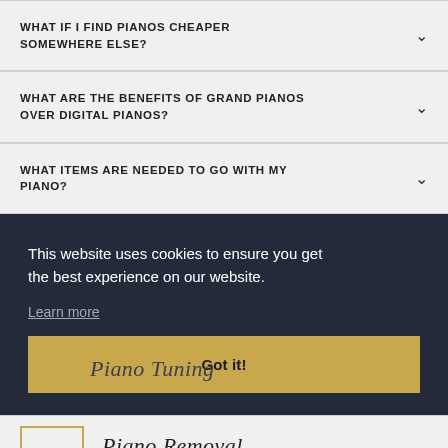WHAT IF I FIND PIANOS CHEAPER SOMEWHERE ELSE?
WHAT ARE THE BENEFITS OF GRAND PIANOS OVER DIGITAL PIANOS?
WHAT ITEMS ARE NEEDED TO GO WITH MY PIANO?
This website uses cookies to ensure you get the best experience on our website.
Learn more
Piano Tuning
Got it!
Piano Removal